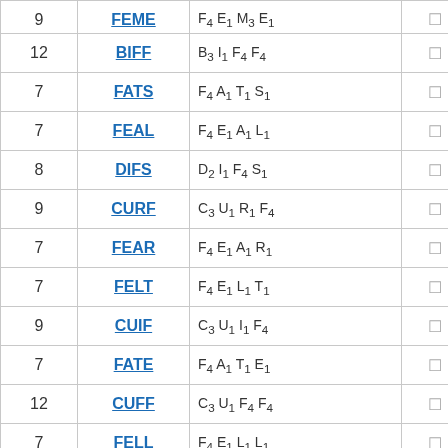| Points | Word | Letter Values |  |  |
| --- | --- | --- | --- | --- |
| 9 | FEME | F4 E1 M3 E1 | ☐ | ☐ |
| 12 | BIFF | B3 I1 F4 F4 | ☐ | ☐ |
| 7 | FATS | F4 A1 T1 S1 | ☐ | ☐ |
| 7 | FEAL | F4 E1 A1 L1 | ☐ | ☐ |
| 8 | DIFS | D2 I1 F4 S1 | ☐ | ☐ |
| 9 | CURF | C3 U1 R1 F4 | ☐ | ☐ |
| 7 | FEAR | F4 E1 A1 R1 | ☐ | ☐ |
| 7 | FELT | F4 E1 L1 T1 | ☐ | ☐ |
| 9 | CUIF | C3 U1 I1 F4 | ☐ | ☐ |
| 7 | FATE | F4 A1 T1 E1 | ☐ | ☐ |
| 12 | CUFF | C3 U1 F4 F4 | ☐ | ☐ |
| 7 | FELL | F4 E1 L1 L1 | ☐ | ☐ |
| 7 | AUFS | A1 U1 F4 S1 | ☐ | ☐ |